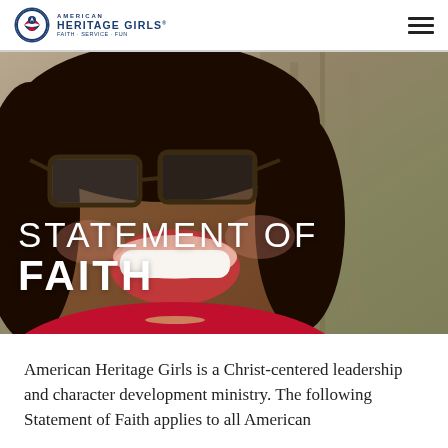American Heritage Girls
[Figure (photo): Close-up photo of a smiling woman with glasses and curly dark hair, wearing a red top, overlaid with the text STATEMENT OF FAITH]
STATEMENT OF FAITH
American Heritage Girls is a Christ-centered leadership and character development ministry. The following Statement of Faith applies to all American